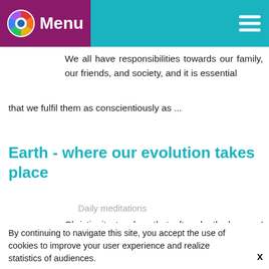Menu
We all have responsibilities towards our family, our friends, and society, and it is essential that we fulfil them as conscientiously as ...
Earth - where our evolution takes place
Daily meditations
Christianity teaches that after death, humans' souls go to purgatory to atone for the sins committed during their life on earth. However,
By continuing to navigate this site, you accept the use of cookies to improve your user experience and realize statistics of audiences.